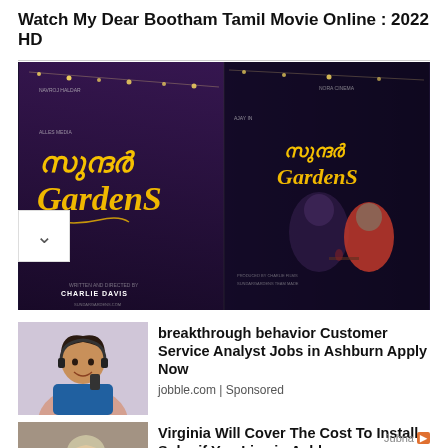Watch My Dear Bootham Tamil Movie Online : 2022 HD
[Figure (photo): Movie poster for 'Sundar Gardens' (Malayalam film) showing stylized yellow text logo on dark background with two posters side by side, and a couple visible on the right side. Text includes 'CHARLIE DAVIS' and production credits.]
[Figure (photo): Advertisement thumbnail showing a smiling young woman with headphones on phone, for customer service analyst jobs.]
breakthrough behavior Customer Service Analyst Jobs in Ashburn Apply Now
jobble.com | Sponsored
[Figure (photo): Advertisement thumbnail showing an older woman with glasses speaking at a microphone, for solar installation coverage.]
Virginia Will Cover The Cost To Install Solar if You Live in Ashburn
Solar Smart Install | Sponsored
Jubna